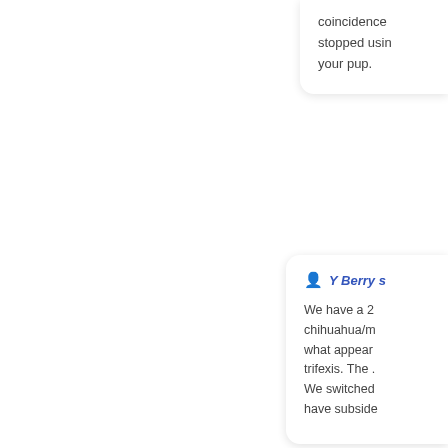coincidence stopped using your pup.
📅 J
👤 Y Berry s
We have a 2 chihuahua/m what appear trifexis. The . We switched have subside